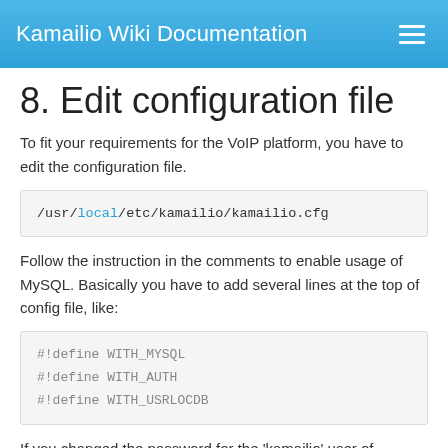Kamailio Wiki Documentation
8. Edit configuration file
To fit your requirements for the VoIP platform, you have to edit the configuration file.
/usr/local/etc/kamailio/kamailio.cfg
Follow the instruction in the comments to enable usage of MySQL. Basically you have to add several lines at the top of config file, like:
#!define WITH_MYSQL
#!define WITH_AUTH
#!define WITH_USRLOCDB
If you changed the password for the 'kamailio' user of MySQL, you have to update the value for 'db_url'